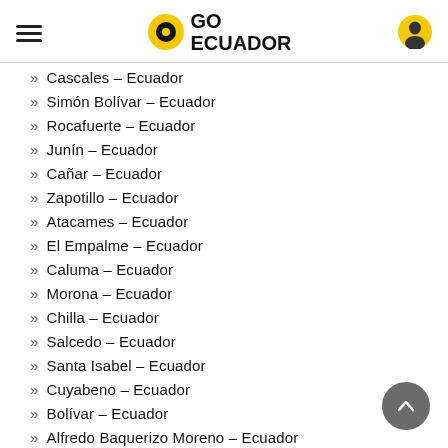GO ECUADOR
» Cascales – Ecuador
» Simón Bolívar – Ecuador
» Rocafuerte – Ecuador
» Junín – Ecuador
» Cañar – Ecuador
» Zapotillo – Ecuador
» Atacames – Ecuador
» El Empalme – Ecuador
» Caluma – Ecuador
» Morona – Ecuador
» Chilla – Ecuador
» Salcedo – Ecuador
» Santa Isabel – Ecuador
» Cuyabeno – Ecuador
» Bolívar – Ecuador
» Alfredo Baquerizo Moreno – Ecuador